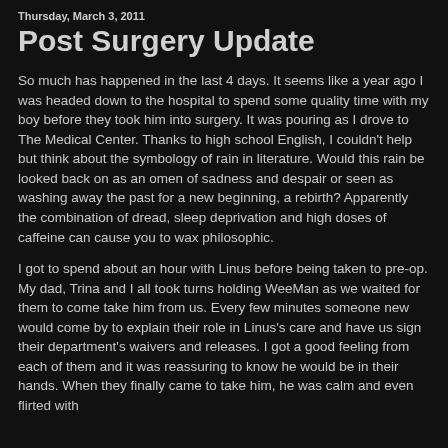Thursday, March 3, 2011
Post Surgery Update
So much has happened in the last 4 days. It seems like a year ago I was headed down to the hospital to spend some quality time with my boy before they took him into surgery. It was pouring as I drove to The Medical Center. Thanks to high school English, I couldn't help but think about the symbology of rain in literature. Would this rain be looked back on as an omen of sadness and despair or seen as washing away the past for a new beginning, a rebirth? Apparently the combination of dread, sleep deprivation and high doses of caffeine can cause you to wax philosophic.
I got to spend about an hour with Linus before being taken to pre-op. My dad, Trina and I all took turns holding WeeMan as we waited for them to come take him from us. Every few minutes someone new would come by to explain their role in Linus's care and have us sign their department's waivers and releases. I got a good feeling from each of them and it was reassuring to know he would be in their hands. When they finally came to take him, he was calm and even flirted with